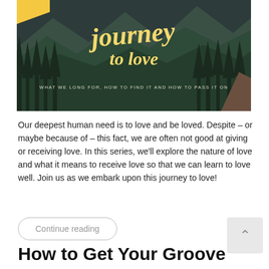[Figure (illustration): Book cover illustration showing a forest silhouette scene with mountains in the background. Large cursive yellow text reads 'journey to love'. Below in small caps: 'WHAT WE LONG FOR, HOW TO FIND IT AND HOW TO PASS IT ON'. Dark teal and green color scheme.]
Our deepest human need is to love and be loved. Despite – or maybe because of – this fact, we are often not good at giving or receiving love. In this series, we'll explore the nature of love and what it means to receive love so that we can learn to love well. Join us as we embark upon this journey to love!
Continue reading
How to Get Your Groove